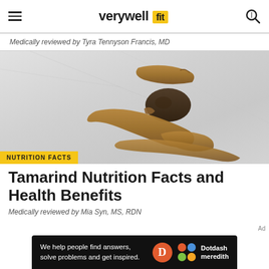verywell fit
Medically reviewed by Tyra Tennyson Francis, MD
[Figure (photo): Tamarind pods and seeds on a light gray/white marble surface]
NUTRITION FACTS
Tamarind Nutrition Facts and Health Benefits
Medically reviewed by Mia Syn, MS, RDN
We help people find answers, solve problems and get inspired. Dotdash meredith